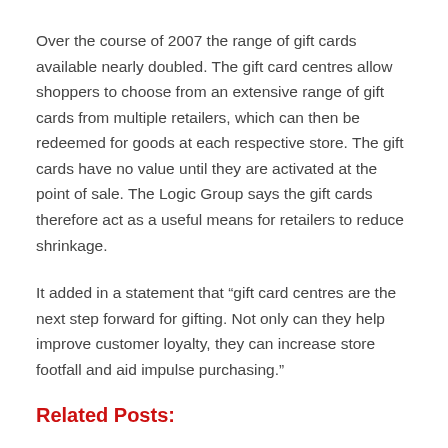Over the course of 2007 the range of gift cards available nearly doubled. The gift card centres allow shoppers to choose from an extensive range of gift cards from multiple retailers, which can then be redeemed for goods at each respective store. The gift cards have no value until they are activated at the point of sale. The Logic Group says the gift cards therefore act as a useful means for retailers to reduce shrinkage.
It added in a statement that “gift card centres are the next step forward for gifting. Not only can they help improve customer loyalty, they can increase store footfall and aid impulse purchasing.”
Related Posts: